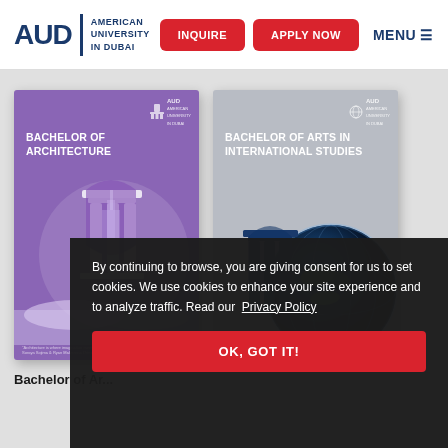[Figure (screenshot): AUD (American University in Dubai) website navigation bar with logo, INQUIRE and APPLY NOW red buttons, and MENU hamburger button]
[Figure (illustration): Bachelor of Architecture brochure cover — purple background with white pillar/column graphic and Dubai skyline]
[Figure (illustration): Bachelor of Arts in International Studies brochure cover — gray/silver background with dark blue globe and column graphic]
Bachelor of Ar...
By continuing to browse, you are giving consent for us to set cookies. We use cookies to enhance your site experience and to analyze traffic. Read our Privacy Policy
OK, GOT IT!